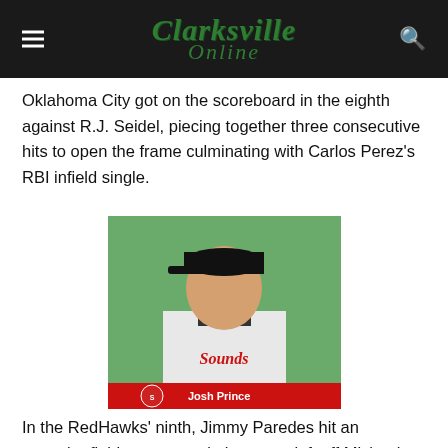Clarksville Online
Oklahoma City got on the scoreboard in the eighth against R.J. Seidel, piecing together three consecutive hits to open the frame culminating with Carlos Perez's RBI infield single.
[Figure (photo): Headshot photo of baseball player Josh Prince in Nashville Sounds uniform]
In the RedHawks’ ninth, Jimmy Paredes hit an opposite-field, one-out solo homer to left off Michael Olmsted, his fifth roundtripper of the year, to bring the score to its final 5-2 standing.